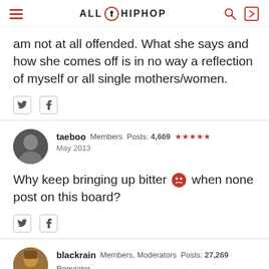ALL HIPHOP
am not at all offended. What she says and how she comes off is in no way a reflection of myself or all single mothers/women.
taeboo  Members  Posts: 4,669  ★★★★★  May 2013
Why keep bringing up bitter 😡 when none post on this board?
blackrain  Members, Moderators  Posts: 27,269  Regulator  May 2013